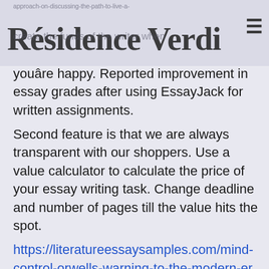approach-on-discussing-the-path-to-live-a-
Résidence Verdi
create the funds of the writer when youâre happy. Reported improvement in essay grades after using EssayJack for written assignments.
Second feature is that we are always transparent with our shoppers. Use a value calculator to calculate the price of your essay writing task. Change deadline and number of pages till the value hits the spot.
https://literatureessaysamples.com/mind-control-orwells-warning-to-the-modern-era-in-1984/ First-time client will get a 13% discount on their first order with the promo code TopStar13. Hop on our space surfboard to glide above educational challenges and perturbations. His